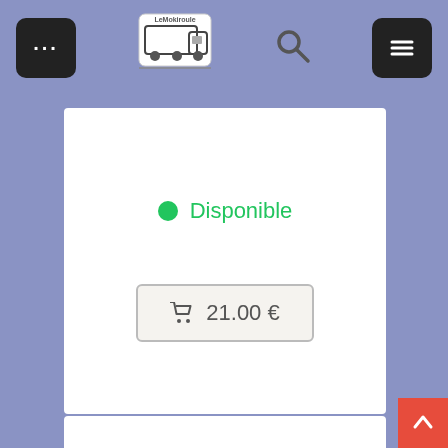[Figure (screenshot): Navigation bar with dark square button with dots, LeMokiroule logo (truck/trailer icon), search icon, and dark hamburger menu button on a blue-grey background.]
Disponible
21.00 €
[Figure (screenshot): White card panel below, empty product content area.]
[Figure (screenshot): Red back-to-top button with upward chevron arrow in bottom right corner.]